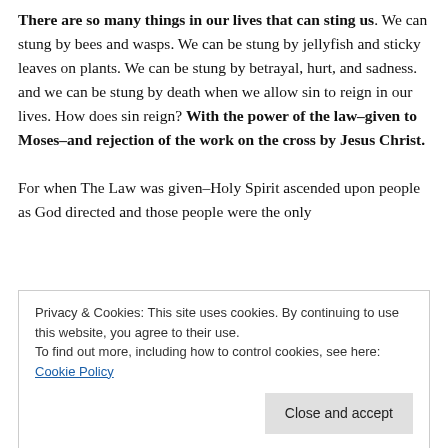There are so many things in our lives that can sting us. We can stung by bees and wasps. We can be stung by jellyfish and sticky leaves on plants. We can be stung by betrayal, hurt, and sadness. and we can be stung by death when we allow sin to reign in our lives. How does sin reign? With the power of the law–given to Moses–and rejection of the work on the cross by Jesus Christ.

For when The Law was given–Holy Spirit ascended upon people as God directed and those people were the only ones who had the authority to speak–but God said With …

receiving the victory over sin in our lives.
Privacy & Cookies: This site uses cookies. By continuing to use this website, you agree to their use.
To find out more, including how to control cookies, see here: Cookie Policy

Close and accept